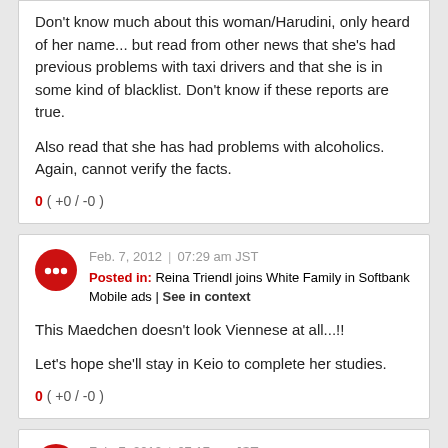Don't know much about this woman/Harudini, only heard of her name... but read from other news that she's had previous problems with taxi drivers and that she is in some kind of blacklist. Don't know if these reports are true.

Also read that she has had problems with alcoholics. Again, cannot verify the facts.
0 ( +0 / -0 )
Feb. 7, 2012 | 07:29 am JST
Posted in: Reina Triendl joins White Family in Softbank Mobile ads | See in context
This Maedchen doesn't look Viennese at all...!!

Let's hope she'll stay in Keio to complete her studies.
0 ( +0 / -0 )
Feb. 7, 2012 | 07:17 am JST